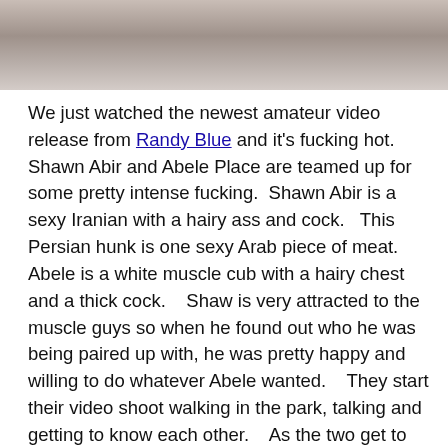[Figure (photo): Partial photograph showing two people in close physical contact, cropped at top of page]
We just watched the newest amateur video release from Randy Blue and it's fucking hot.  Shawn Abir and Abele Place are teamed up for some pretty intense fucking.  Shawn Abir is a sexy Iranian with a hairy ass and cock.   This Persian hunk is one sexy Arab piece of meat.  Abele is a white muscle cub with a hairy chest and a thick cock.   Shaw is very attracted to the muscle guys so when he found out who he was being paired up with, he was pretty happy and willing to do whatever Abele wanted.   They start their video shoot walking in the park, talking and getting to know each other.   As the two get to know each other more, they realize they are both truly attracted to each other and they start to make out.   They take the action back to the apartment and quickly strip their clothes off and start rubbing on their hard cocks.   They start sucking each other's big cocks before Shawn sticks his Arch...